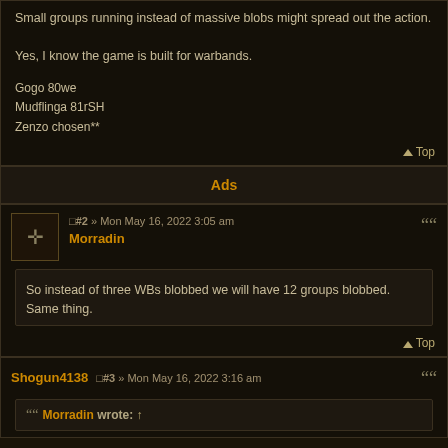Small groups running instead of massive blobs might spread out the action.

Yes, I know the game is built for warbands.
Gogo 80we
Mudflinga 81rSH
Zenzo chosen**
Ads
#2 » Mon May 16, 2022 3:05 am
Morradin
So instead of three WBs blobbed we will have 12 groups blobbed. Same thing.
Shogun4138  #3 » Mon May 16, 2022 3:16 am
Morradin wrote: ↑